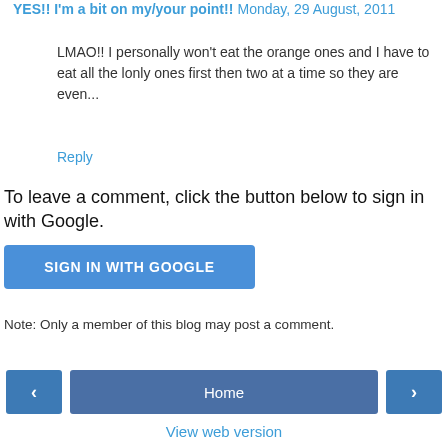YES!! I'm a bit on my/your point!! Monday, 29 August, 2011
LMAO!! I personally won't eat the orange ones and I have to eat all the lonly ones first then two at a time so they are even...
Reply
To leave a comment, click the button below to sign in with Google.
SIGN IN WITH GOOGLE
Note: Only a member of this blog may post a comment.
Home
View web version
Powered by Blogger.